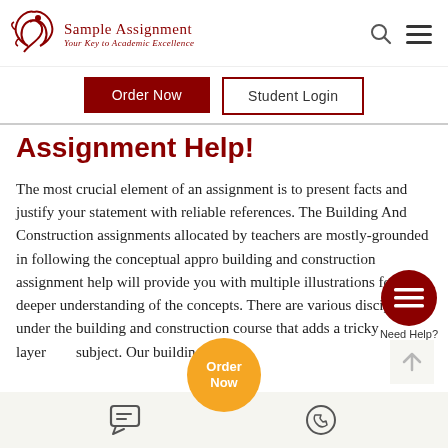[Figure (logo): Sample Assignment logo with bird icon and tagline 'Your Key to Academic Excellence']
Order Now
Student Login
Assignment Help!
The most crucial element of an assignment is to present facts and justify your statement with reliable references. The Building And Construction assignments allocated by teachers are mostly grounded in following the conceptual appro building and construction assignment help will provide you with multiple illustrations for a deeper understanding of the concepts. There are various disciplines under the building and construction course that adds a tricky layer subject. Our building
[Figure (illustration): Need Help? button - dark red circle with menu lines icon and 'Need Help?' label]
[Figure (illustration): Orange circular floating 'Order Now' button]
[Figure (illustration): Footer bar with chat icon on left and WhatsApp icon on right]